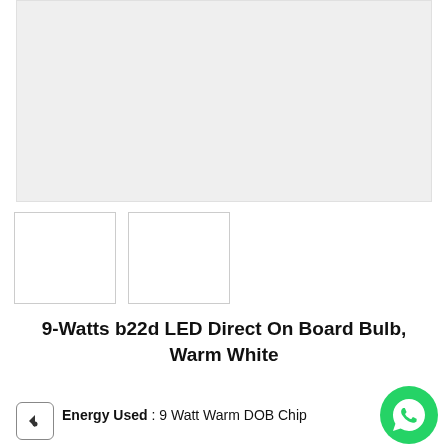[Figure (photo): Main product image placeholder — light gray rectangle]
[Figure (photo): Two thumbnail image placeholders — white rectangles with border]
9-Watts b22d LED Direct On Board Bulb, Warm White
Energy Used : 9 Watt Warm DOB Chip
Input Voltage : AC230V